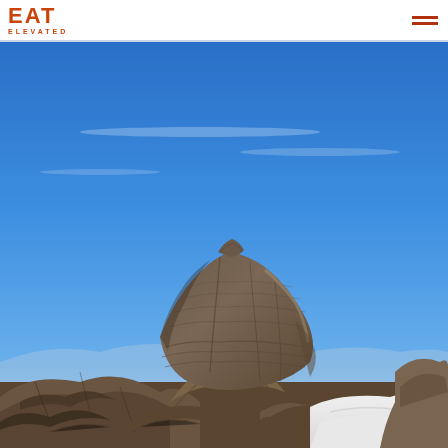EAT ELEVATED logo and navigation
[Figure (photo): Outdoor mountain landscape photo showing a large balanced rock formation in the foreground against a vivid blue sky. The rock is a jagged, layered boulder perched on a narrow base, with patches of snow visible at the base and surrounding rocky terrain. The horizon shows distant mountain ranges.]